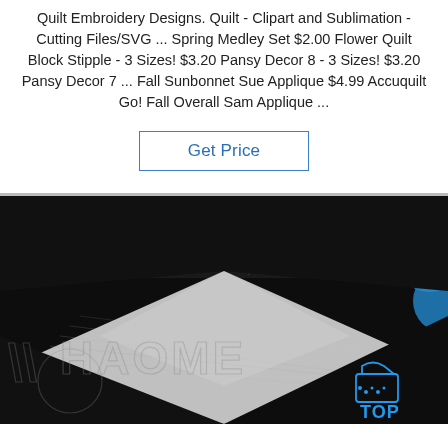Quilt Embroidery Designs. Quilt - Clipart and Sublimation - Cutting Files/SVG ... Spring Medley Set $2.00 Flower Quilt Block Stipple - 3 Sizes! $3.20 Pansy Decor 8 - 3 Sizes! $3.20 Pansy Decor 7 ... Fall Sunbonnet Sue Applique $4.99 Accuquilt Go! Fall Overall Sam Applique ...
Get Price
[Figure (photo): Close-up photo of a metallic/silver material with a dark plastic or vinyl edge/binding at the top. A watermark reading 'HAOME' is visible, and a 'TOP' logo with water droplet icon appears in the lower right corner. Blue circle shapes are partially visible on the right side.]